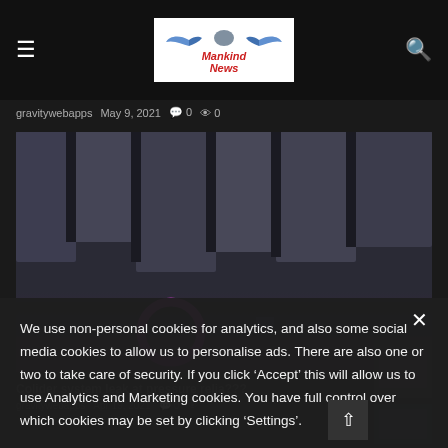Mankind News
gravitywebapps  May 9, 2021  💬 0  👁 0
[Figure (photo): Dark aerial or underground image with a pink/purple circular object visible at the bottom]
We use non-personal cookies for analytics, and also some social media cookies to allow us to personalise ads. There are also one or two to take care of security. If you click ‘Accept’ this will allow us to use Analytics and Marketing cookies. You have full control over which cookies may be set by clicking ‘Settings’.